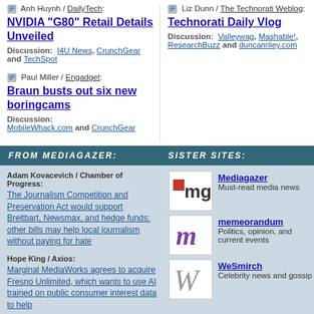Anh Huynh / DailyTech: NVIDIA "G80" Retail Details Unveiled Discussion: I4U News, CrunchGear and TechSpot
Liz Dunn / The Technorati Weblog: Technorati Daily Vlog Discussion: Valleywag, Mashable!, ResearchBuzz and duncanriley.com
Paul Miller / Engadget: Braun busts out six new boringcams Discussion: MobileWhack.com and CrunchGear
FROM MEDIAGAZER:
SISTER SITES:
Adam Kovacevich / Chamber of Progress: The Journalism Competition and Preservation Act would support Breitbart, Newsmax, and hedge funds; other bills may help local journalism without paying for hate
Hope King / Axios: Marginal MediaWorks agrees to acquire Fresno Unlimited, which wants to use AI trained on public consumer interest data to help
[Figure (logo): Mediagazer logo - mg with red dot]
Mediagazer Must-read media news
[Figure (logo): memeorandum logo - purple m]
memeorandum Politics, opinion, and current events
[Figure (logo): WeSmirch logo - cursive W]
WeSmirch Celebrity news and gossip